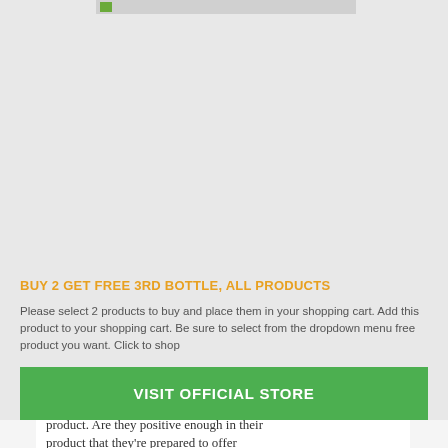[Figure (other): Broken/placeholder image icon in gray bar at top of overlay modal]
BUY 2 GET FREE 3RD BOTTLE, ALL PRODUCTS
Please select 2 products to buy and place them in your shopping cart. Add this product to your shopping cart. Be sure to select from the dropdown menu free product you want. Click to shop
VISIT OFFICIAL STORE
product. Are they positive enough in their product that they're prepared to offer